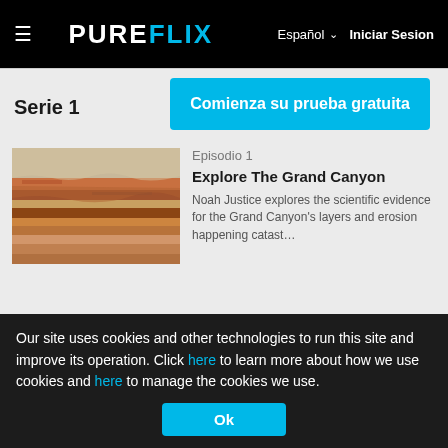☰  PUREFLIX   Español ∨  Iniciar Sesion
Comienza su prueba gratuita
Serie 1
Episodio 1
Explore The Grand Canyon
Noah Justice explores the scientific evidence for the Grand Canyon's layers and erosion happening catast…
[Figure (photo): Aerial view of Grand Canyon layered rock formations]
Episodio 2
Yellowstone National Park
[Figure (photo): Geyser with steam in Yellowstone National Park, trees in background]
Our site uses cookies and other technologies to run this site and improve its operation. Click here to learn more about how we use cookies and here to manage the cookies we use.
Ok